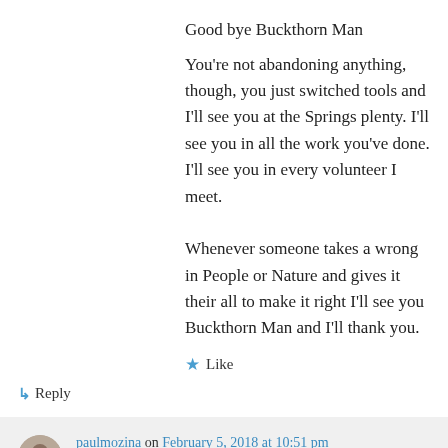Good bye Buckthorn Man
You're not abandoning anything, though, you just switched tools and I'll see you at the Springs plenty. I'll see you in all the work you've done. I'll see you in every volunteer I meet.
Whenever someone takes a wrong in People or Nature and gives it their all to make it right I'll see you Buckthorn Man and I'll thank you.
★ Like
↳ Reply
paulmozina on February 5, 2018 at 10:51 pm
Thanks Lindsay.